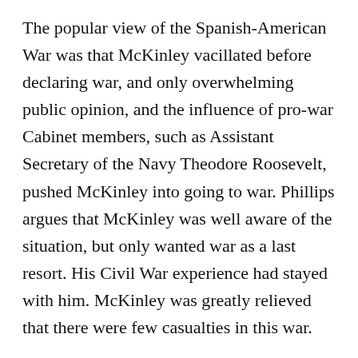The popular view of the Spanish-American War was that McKinley vacillated before declaring war, and only overwhelming public opinion, and the influence of pro-war Cabinet members, such as Assistant Secretary of the Navy Theodore Roosevelt, pushed McKinley into going to war. Phillips argues that McKinley was well aware of the situation, but only wanted war as a last resort. His Civil War experience had stayed with him. McKinley was greatly relieved that there were few casualties in this war.
In the 1898 midterm elections, McKinley and the Republicans lost just 19 seats, a good mark for that era. The Republicans still enjoyed a healthy 187-161 majority in the House. (There were nine Representatives from other parties.)
McKinley was personally popular. He pushed for higher